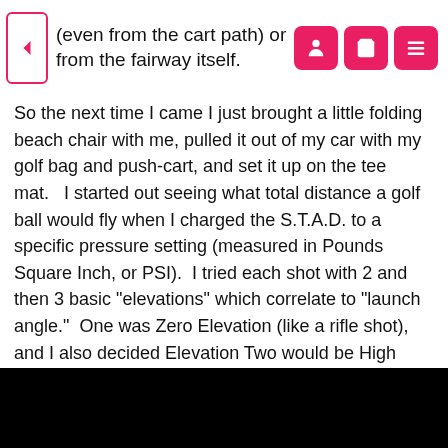(even from the cart path) or from the fairway itself.
So the next time I came I just brought a little folding beach chair with me, pulled it out of my car with my golf bag and push-cart, and set it up on the tee mat.   I started out seeing what total distance a golf ball would fly when I charged the S.T.A.D. to a specific pressure setting (measured in Pounds Square Inch, or PSI).  I tried each shot with 2 and then 3 basic "elevations" which correlate to "launch angle."  One was Zero Elevation (like a rifle shot), and I also decided Elevation Two would be High elevation, and Elevation One pretty much in-between - sighting by using the STAD's pressure gauge rather like a rear sight.